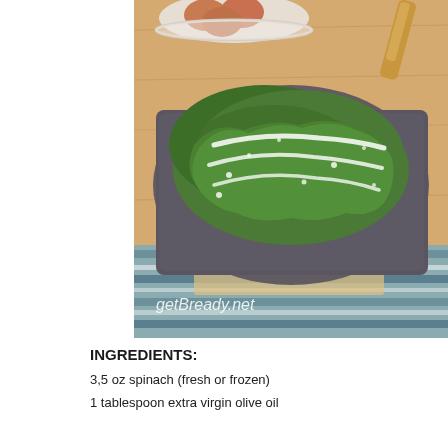[Figure (photo): A green spinach flatbread or frittata on a dark square plate, dusted with white cheese or salt, placed on a wooden cutting board with a teal/blue striped cloth underneath. A bowl of brown eggs is visible in the background. Watermark text 'getBready.net' is in the lower left of the photo.]
INGREDIENTS:
3,5 oz spinach (fresh or frozen)
1 tablespoon extra virgin olive oil